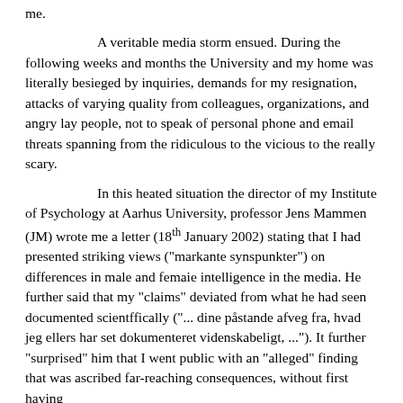me.
A veritable media storm ensued. During the following weeks and months the University and my home was literally besieged by inquiries, demands for my resignation, attacks of varying quality from colleagues, organizations, and angry lay people, not to speak of personal phone and email threats spanning from the ridiculous to the vicious to the really scary.
In this heated situation the director of my Institute of Psychology at Aarhus University, professor Jens Mammen (JM) wrote me a letter (18th January 2002) stating that I had presented striking views ("markante synspunkter") on differences in male and femaie intelligence in the media. He further said that my "claims" deviated from what he had seen documented scientffically ("... dine påstande afveg fra, hvad jeg ellers har set dokumenteret videnskabeligt, ..."). It further "surprised" him that I went public with an "alleged" finding that was ascribed far-reaching consequences, without first having